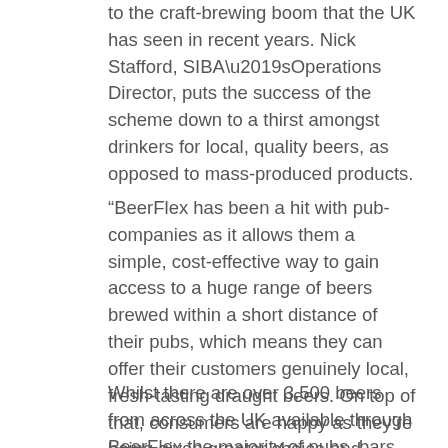to the craft-brewing boom that the UK has seen in recent years. Nick Stafford, SIBA’sOperations Director, puts the success of the scheme down to a thirst amongst drinkers for local, quality beers, as opposed to mass-produced products.
“BeerFlex has been a hit with pub-companies as it allows them a simple, cost-effective way to gain access to a huge range of beers brewed within a short distance of their pubs, which means they can offer their customers genuinely local, fresh-tasting draught beers. On top of that, consumers are happy as they’re being given greater choice and brewers are happy as their beers are getting into pubs which were previously a closed door to small-scale producers.”
Whilst there are over 3,500 beers from across the UK available through BeerFlex the majority of pubs, bars and restaurants buy beer from breweries in their local area – infact SIBA figures show that around 70% of